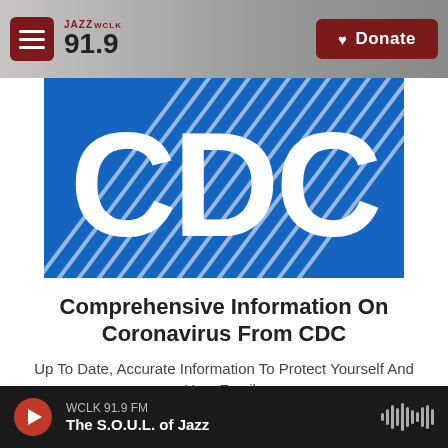JAZZ WCLK 91.9 — Donate
[Figure (logo): CDC (Centers for Disease Control and Prevention) official logo — white letters CDC on a blue background with diagonal white line patterns]
Comprehensive Information On Coronavirus From CDC
Up To Date, Accurate Information To Protect Yourself And Your Family
WCLK 91.9 FM — The S.O.U.L. of Jazz